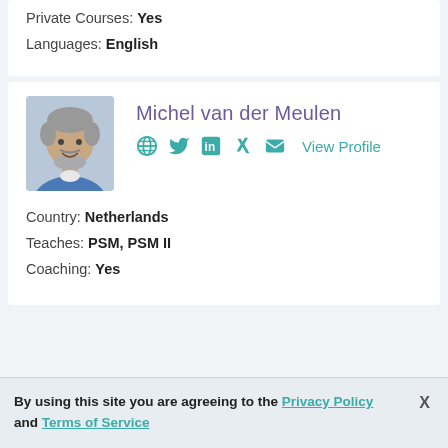Private Courses: Yes
Languages: English
Michel van der Meulen
[Figure (photo): Profile photo of Michel van der Meulen, a middle-aged man with gray hair and a beard, smiling, wearing a blue jacket.]
Country: Netherlands
Teaches: PSM, PSM II
Coaching: Yes
By using this site you are agreeing to the Privacy Policy and Terms of Service